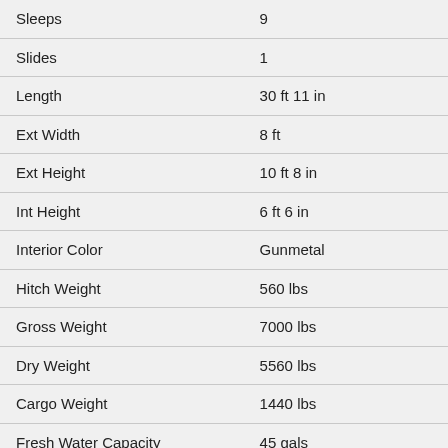| Specification | Value |
| --- | --- |
| Sleeps | 9 |
| Slides | 1 |
| Length | 30 ft  11 in |
| Ext Width | 8 ft |
| Ext Height | 10 ft 8 in |
| Int Height | 6 ft 6 in |
| Interior Color | Gunmetal |
| Hitch Weight | 560 lbs |
| Gross Weight | 7000 lbs |
| Dry Weight | 5560 lbs |
| Cargo Weight | 1440 lbs |
| Fresh Water Capacity | 45 gals |
| Grey Water Capacity | 32 gals |
| Black Water Capacity | 32 gals |